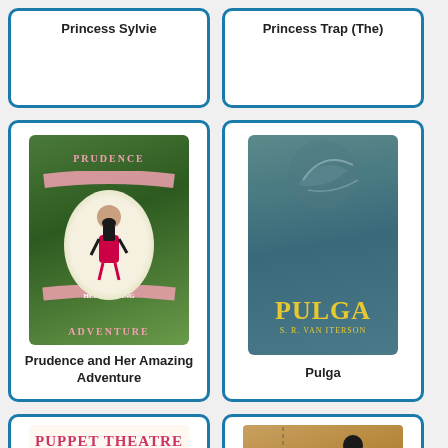[Figure (other): Book card for Princess Sylvie - white card with blue border, title text at top, empty image area]
Princess Sylvie
[Figure (other): Book card for Princess Trap (The) - white card with blue border, title text at top, empty image area]
Princess Trap (The)
[Figure (photo): Book cover for Prudence and Her Amazing Adventure - illustrated cover with jungle/green background, girl figure in center oval, pink ribbon banners]
Prudence and Her Amazing Adventure
[Figure (photo): Book cover for Pulga by S.R. Van Iterson - teal/blue-green cover with embossed bird design and yellow PULGA title text]
Pulga
[Figure (photo): Book cover for Puppet Theatre by Maria Baric - white cover with pink-red title text]
[Figure (photo): Book cover partially visible at bottom right - amber/tan colored cover with dark figure silhouette]